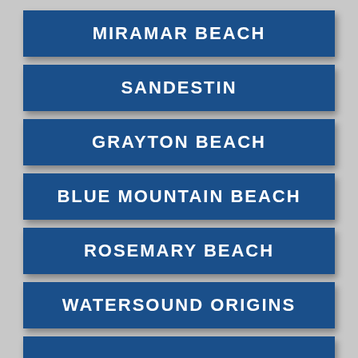MIRAMAR BEACH
SANDESTIN
GRAYTON BEACH
BLUE MOUNTAIN BEACH
ROSEMARY BEACH
WATERSOUND ORIGINS
(partial)